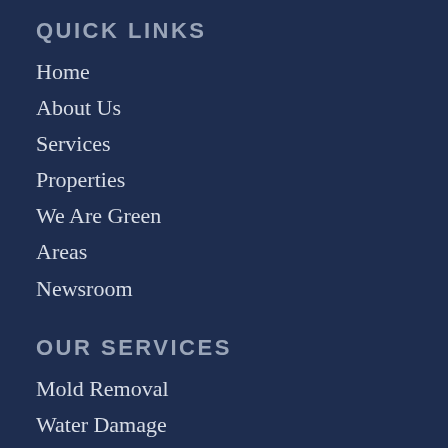QUICK LINKS
Home
About Us
Services
Properties
We Are Green
Areas
Newsroom
OUR SERVICES
Mold Removal
Water Damage
Fire Damage
Asbestos Removal
Air Quality
Sewage Backup
Disinfection
Demolition